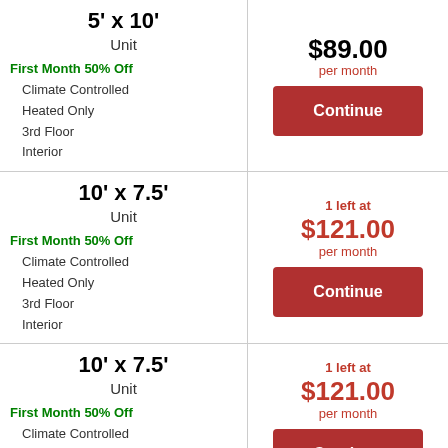| Unit Details | Price/Action |
| --- | --- |
| 5' x 10' Unit
First Month 50% Off
Climate Controlled
Heated Only
3rd Floor
Interior | $89.00 per month [Continue] |
| 10' x 7.5' Unit
First Month 50% Off
Climate Controlled
Heated Only
3rd Floor
Interior | 1 left at $121.00 per month [Continue] |
| 10' x 7.5' Unit
First Month 50% Off
Climate Controlled
Heated Only
2nd Floor | 1 left at $121.00 per month [Continue] |